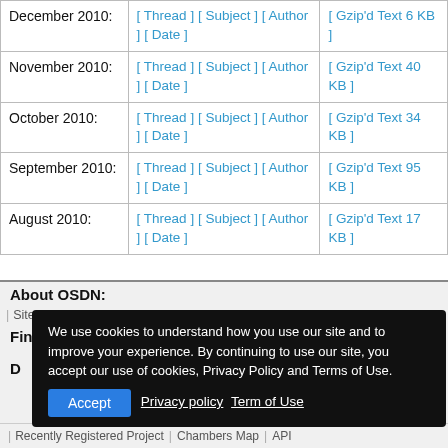| Month | Sort Options | Archive |
| --- | --- | --- |
| December 2010: | [ Thread ] [ Subject ] [ Author ] [ Date ] | [ Gzip'd Text 6 KB ] |
| November 2010: | [ Thread ] [ Subject ] [ Author ] [ Date ] | [ Gzip'd Text 40 KB ] |
| October 2010: | [ Thread ] [ Subject ] [ Author ] [ Date ] | [ Gzip'd Text 34 KB ] |
| September 2010: | [ Thread ] [ Subject ] [ Author ] [ Date ] | [ Gzip'd Text 95 KB ] |
| August 2010: | [ Thread ] [ Subject ] [ Author ] [ Date ] | [ Gzip'd Text 17 KB ] |
About OSDN:
| Site Announce | About OSDN | Privacy | Terms of Use
Find Software:
We use cookies to understand how you use our site and to improve your experience. By continuing to use our site, you accept our use of cookies, Privacy Policy and Terms of Use.
Accept  Privacy policy  Term of Use
| Recently Registered Project | Chambers Map | API